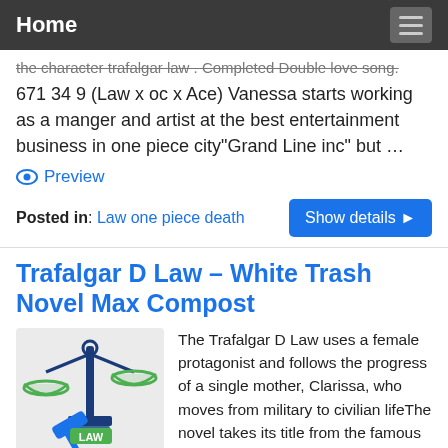Home
the character trafalgar law . Completed Double love song. 671 34 9 (Law x oc x Ace) Vanessa starts working as a manger and artist at the best entertainment business in one piece city"Grand Line inc" but …
Preview
Posted in: Law one piece death
Trafalgar D Law – White Trash Novel Max Compost
[Figure (illustration): Illustration of justice scales (blue and green) with a gavel and a book labeled LAW]
The Trafalgar D Law uses a female protagonist and follows the progress of a single mother, Clarissa, who moves from military to civilian lifeThe novel takes its title from the famous
his that is right to be credited by India from British law. A